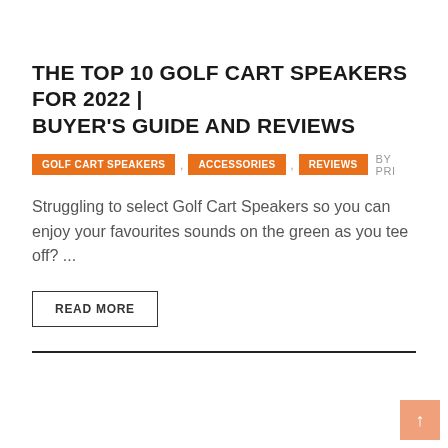THE TOP 10 GOLF CART SPEAKERS FOR 2022 | BUYER'S GUIDE AND REVIEWS
GOLF CART SPEAKERS , ACCESSORIES , REVIEWS  BY PRI
Struggling to select Golf Cart Speakers so you can enjoy your favourites sounds on the green as you tee off? ...
READ MORE